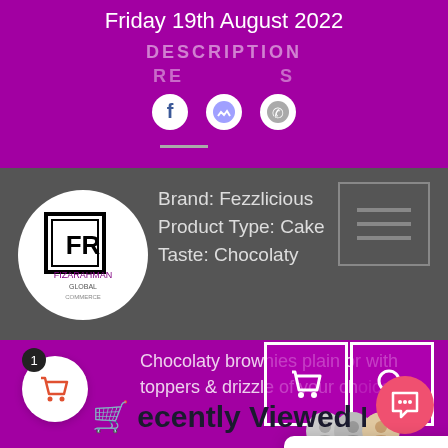Friday 19th August 2022
DESCRIPTION
REVIEWS
[Figure (screenshot): Social sharing icons: Facebook, Messenger, WhatsApp]
[Figure (logo): Fizarahman Global logo in white circle]
Brand: Fezzlicious
Product Type: Cake
Taste: Chocolaty
Chocolaty brownies plain or with toppers & drizzle of your choice
[Figure (screenshot): Chat popup: Hi there, do you have any questions? I'm happy to help.]
Hi there, do you have any questions? I'm happy to help.
Recently Viewed Products